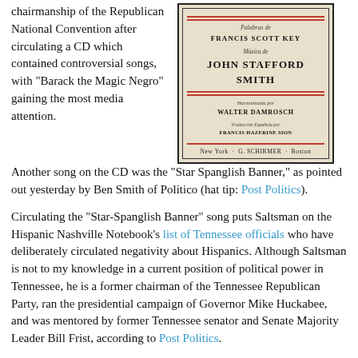chairmanship of the Republican National Convention after circulating a CD which contained controversial songs, with "Barack the Magic Negro" gaining the most media attention. Another song on the CD was the "Star Spanglish Banner," as pointed out yesterday by Ben Smith of Politico (hat tip: Post Politics).
[Figure (illustration): Book cover with cream/beige background and red decorative border lines. Text reads: Palabras de FRANCIS SCOTT KEY / Música de JOHN STAFFORD SMITH / Harmonizada por WALTER DAMROSCH / Traducción Española por FRANCIS HAZERINE SION / New York · G. SCHIRMER · Boston]
Circulating the "Star-Spanglish Banner" song puts Saltsman on the Hispanic Nashville Notebook's list of Tennessee officials who have deliberately circulated negativity about Hispanics. Although Saltsman is not to my knowledge in a current position of political power in Tennessee, he is a former chairman of the Tennessee Republican Party, ran the presidential campaign of Governor Mike Huckabee, and was mentored by former Tennessee senator and Senate Majority Leader Bill Frist, according to Post Politics.